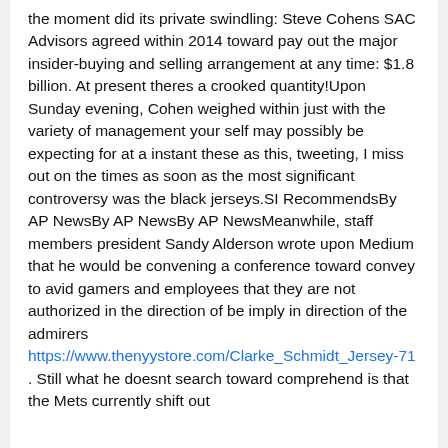the moment did its private swindling: Steve Cohens SAC Advisors agreed within 2014 toward pay out the major insider-buying and selling arrangement at any time: $1.8 billion. At present theres a crooked quantity!Upon Sunday evening, Cohen weighed within just with the variety of management your self may possibly be expecting for at a instant these as this, tweeting, I miss out on the times as soon as the most significant controversy was the black jerseys.SI RecommendsBy AP NewsBy AP NewsBy AP NewsMeanwhile, staff members president Sandy Alderson wrote upon Medium that he would be convening a conference toward convey to avid gamers and employees that they are not authorized in the direction of be imply in direction of the admirers https://www.thenyystore.com/Clarke_Schmidt_Jersey-71 . Still what he doesnt search toward comprehend is that the Mets currently shift out